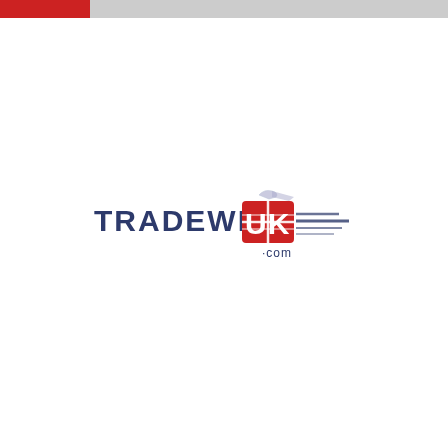[Figure (logo): TradeWithUK.com logo — dark navy blue text 'TRADEWITH' followed by 'UK' on a red shield/flag shape with speed lines, and '.com' below in navy]